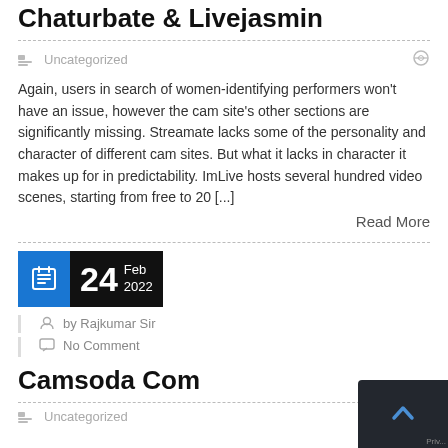Chaturbate & Livejasmin
Uncategorized
Again, users in search of women-identifying performers won't have an issue, however the cam site's other sections are significantly missing. Streamate lacks some of the personality and character of different cam sites. But what it lacks in character it makes up for in predictability. ImLive hosts several hundred video scenes, starting from free to 20 [...]
Read More
24 Feb 2022
by Rajkumar Sir
No Comment
Camsoda Com
Uncategorized